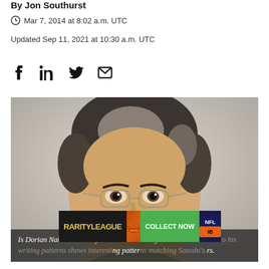By Jon Southurst
Mar 7, 2014 at 8:02 a.m. UTC
Updated Sep 11, 2021 at 10:30 a.m. UTC
[Figure (photo): Photo of Dorian Nakamoto, an elderly Japanese-American man with glasses and grey hair]
Is Dorian Nakamoto really Satoshi? Decidedly not. But research into his writing patterns shows interesting writing patterns matching Satoshi's.